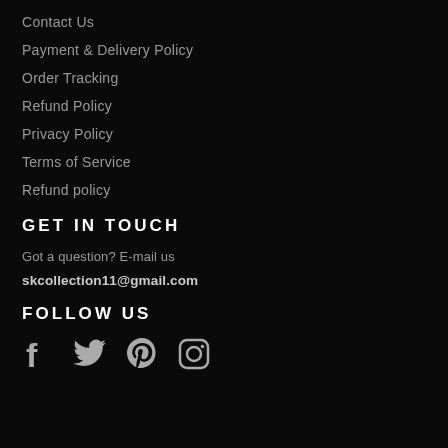Contact Us
Payment & Delivery Policy
Order Tracking
Refund Policy
Privacy Policy
Terms of Service
Refund policy
GET IN TOUCH
Got a question? E-mail us
skcollection11@gmail.com
FOLLOW US
[Figure (infographic): Social media icons: Facebook, Twitter, Pinterest, Instagram]